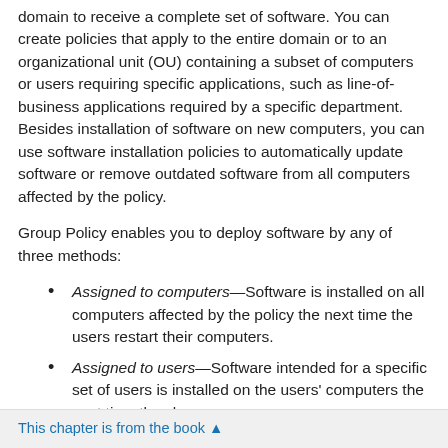domain to receive a complete set of software. You can create policies that apply to the entire domain or to an organizational unit (OU) containing a subset of computers or users requiring specific applications, such as line-of-business applications required by a specific department. Besides installation of software on new computers, you can use software installation policies to automatically update software or remove outdated software from all computers affected by the policy.
Group Policy enables you to deploy software by any of three methods:
Assigned to computers—Software is installed on all computers affected by the policy the next time the users restart their computers.
Assigned to users—Software intended for a specific set of users is installed on the users' computers the next time they log on.
Published to users—Optional software is advertised to users the next time they log on, and a user can install it from the Control Panel Add or Remove Programs.
This chapter is from the book